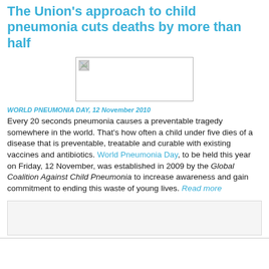The Union's approach to child pneumonia cuts deaths by more than half
[Figure (photo): Image placeholder with broken image icon (white rectangle with border)]
WORLD PNEUMONIA DAY, 12 November 2010
Every 20 seconds pneumonia causes a preventable tragedy somewhere in the world. That's how often a child under five dies of a disease that is preventable, treatable and curable with existing vaccines and antibiotics. World Pneumonia Day, to be held this year on Friday, 12 November, was established in 2009 by the Global Coalition Against Child Pneumonia to increase awareness and gain commitment to ending this waste of young lives. Read more